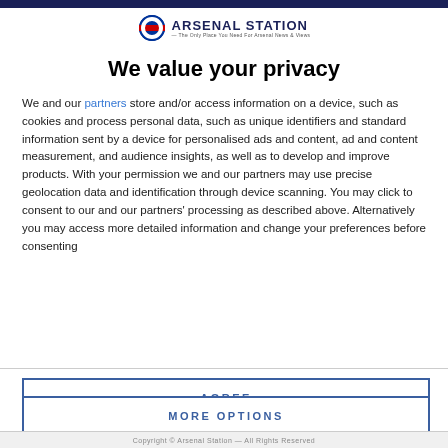[Figure (logo): Arsenal Station logo with London Underground roundel and text 'ARSENAL STATION — The Only Place You Need For Arsenal News & Views']
We value your privacy
We and our partners store and/or access information on a device, such as cookies and process personal data, such as unique identifiers and standard information sent by a device for personalised ads and content, ad and content measurement, and audience insights, as well as to develop and improve products. With your permission we and our partners may use precise geolocation data and identification through device scanning. You may click to consent to our and our partners' processing as described above. Alternatively you may access more detailed information and change your preferences before consenting or to refuse consenting. Please note that some processing of your
AGREE
MORE OPTIONS